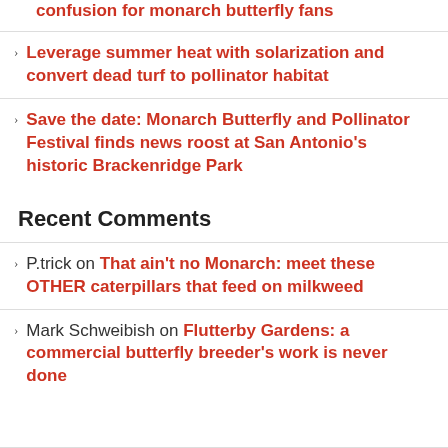confusion for monarch butterfly fans
Leverage summer heat with solarization and convert dead turf to pollinator habitat
Save the date: Monarch Butterfly and Pollinator Festival finds news roost at San Antonio's historic Brackenridge Park
Recent Comments
P.trick on That ain't no Monarch: meet these OTHER caterpillars that feed on milkweed
Mark Schweibish on Flutterby Gardens: a commercial butterfly breeder's work is never done